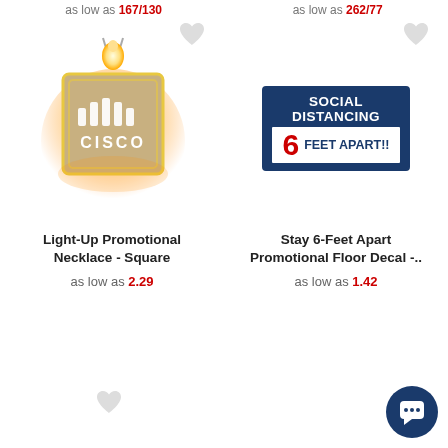as low as 167/... as low as 262/...
[Figure (photo): Light-Up Promotional Necklace - Square with Cisco logo, glowing yellow/orange light]
[Figure (photo): Social Distancing 6 Feet Apart!! promotional floor decal sign with dark blue border]
Light-Up Promotional Necklace - Square
as low as 2.29
Stay 6-Feet Apart Promotional Floor Decal -..
as low as 1.42